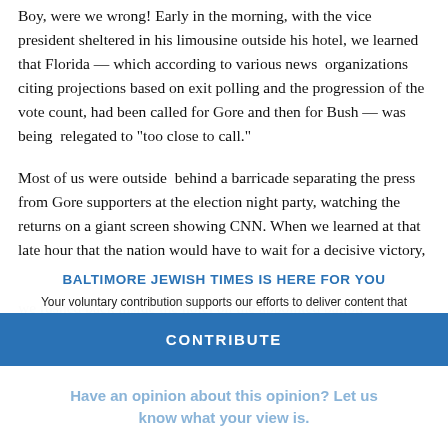Boy, were we wrong! Early in the morning, with the vice president sheltered in his limousine outside his hotel, we learned that Florida — which according to various news organizations citing projections based on exit polling and the progression of the vote count, had been called for Gore and then for Bush — was being relegated to "too close to call."
Most of us were outside behind a barricade separating the press from Gore supporters at the election night party, watching the returns on a giant screen showing CNN. When we learned at that late hour that the nation would have to wait for a decisive victory,
we rushed back inside the hotel on the appointed ballot, conserving as a p... were waiting for and which virtually no one had anticipated.
BALTIMORE JEWISH TIMES IS HERE FOR YOU
Your voluntary contribution supports our efforts to deliver content that engages and helps strengthen the Jewish community in the greater Baltimore area.
CONTRIBUTE
Have an opinion about this opinion? Let us know what your view is.